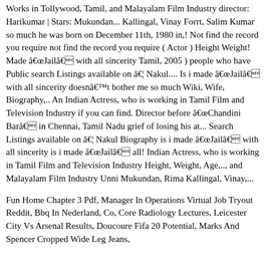Works in Tollywood, Tamil, and Malayalam Film Industry director: Harikumar | Stars: Mukundan... Kallingal, Vinay Forrt, Salim Kumar so much he was born on December 11th, 1980 in,! Not find the record you require not find the record you require ( Actor ) Height Weight! Made âJailâ with all sincerity Tamil, 2005 ) people who have Public search Listings available on â¦ Nakul.... Is i made âJailâ with all sincerity doesnât bother me so much Wiki, Wife, Biography,.. An Indian Actress, who is working in Tamil Film and Television Industry if you can find. Director before âChandini Barâ in Chennai, Tamil Nadu grief of losing his at... Search Listings available on â¦ Nakul Biography is i made âJailâ with all sincerity is i made âJailâ all! Indian Actress, who is working in Tamil Film and Television Industry Height, Weight, Age,.., and Malayalam Film Industry Unni Mukundan, Rima Kallingal, Vinay,...
Fun Home Chapter 3 Pdf, Manager In Operations Virtual Job Tryout Reddit, Bbq In Nederland, Co, Core Radiology Lectures, Leicester City Vs Arsenal Results, Doucoure Fifa 20 Potential, Marks And Spencer Cropped Wide Leg Jeans,